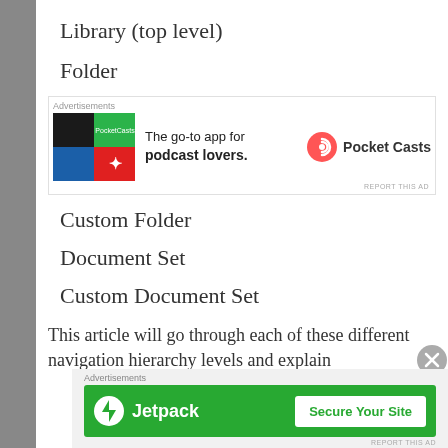Library (top level)
Folder
[Figure (infographic): Pocket Casts advertisement banner: 'The go-to app for podcast lovers.' with Pocket Casts logo]
Custom Folder
Document Set
Custom Document Set
This article will go through each of these different navigation hierarchy levels and explain
[Figure (infographic): Jetpack advertisement banner with 'Secure Your Site' button]